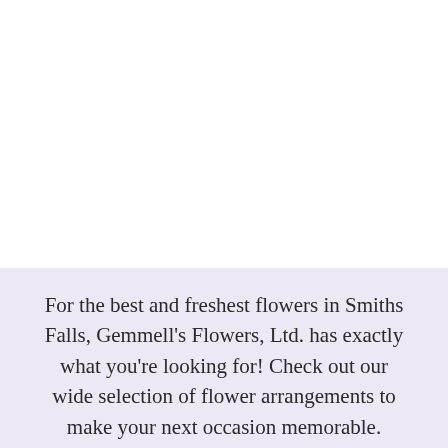For the best and freshest flowers in Smiths Falls, Gemmell's Flowers, Ltd. has exactly what you're looking for! Check out our wide selection of flower arrangements to make your next occasion memorable.